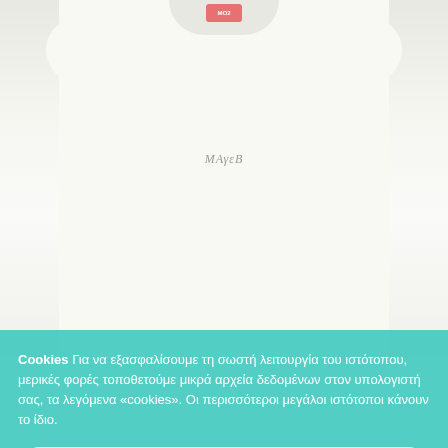[Figure (photo): White baby t-shirt/onesie with a small script logo on the chest, photographed on white background. Sleeves are extended outward.]
Cookies Για να εξασφαλίσουμε τη σωστή λειτουργία του ιστότοπου, μερικές φορές τοποθετούμε μικρά αρχεία δεδομένων στον υπολογιστή σας, τα λεγόμενα «cookies». Οι περισσότεροι μεγάλοι ιστότοποι κάνουν το ίδιο.
Accept
Read more
Change Settings